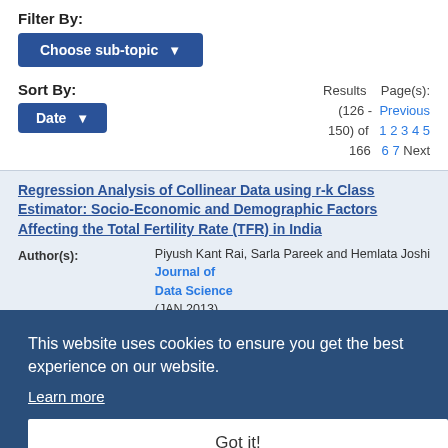Filter By:
Choose sub-topic
Sort By:
Date
Results (126 - 150) of 166   Page(s): Previous 1 2 3 4 5 6 7 Next
Regression Analysis of Collinear Data using r-k Class Estimator: Socio-Economic and Demographic Factors Affecting the Total Fertility Rate (TFR) in India
Author(s):
Piyush Kant Rai, Sarla Pareek and Hemlata Joshi
Journal:
Journal of Data Science (JAN 2013) 11(2013), 321-340
Fertility and Fertility Preferences ,
This website uses cookies to ensure you get the best experience on our website.
Learn more
Got it!